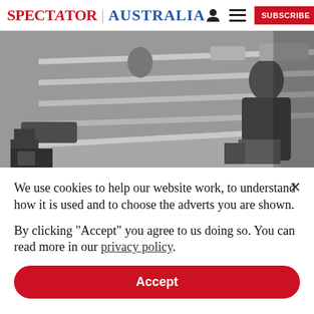SPECTATOR | AUSTRALIA
[Figure (photo): Black and white photograph of people at what appears to be a shop counter or cafeteria with empty shelves/display cases]
We use cookies to help our website work, to understand how it is used and to choose the adverts you are shown.
By clicking "Accept" you agree to us doing so. You can read more in our privacy policy.
Accept